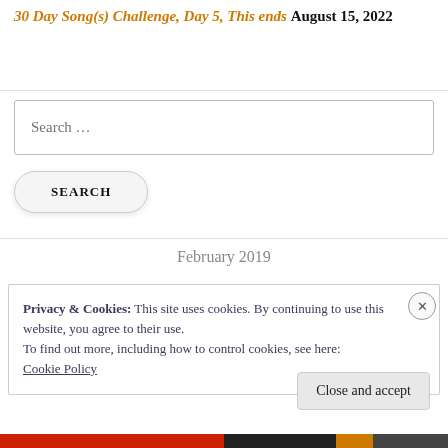30 Day Song(s) Challenge, Day 5, This ends August 15, 2022
Search ...
SEARCH
February 2019
Privacy & Cookies: This site uses cookies. By continuing to use this website, you agree to their use.
To find out more, including how to control cookies, see here: Cookie Policy
Close and accept